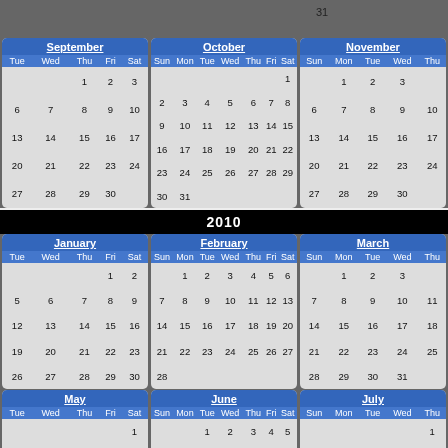31
| Tue | Wed | Thu | Fri | Sat |
| --- | --- | --- | --- | --- |
|  |  | 1 | 2 | 3 |
| 6 | 7 | 8 | 9 | 10 |
| 13 | 14 | 15 | 16 | 17 |
| 20 | 21 | 22 | 23 | 24 |
| 27 | 28 | 29 | 30 |  |
| Sun | Mon | Tue | Wed | Thu | Fri | Sat |
| --- | --- | --- | --- | --- | --- | --- |
|  |  |  |  |  |  | 1 |
| 2 | 3 | 4 | 5 | 6 | 7 | 8 |
| 9 | 10 | 11 | 12 | 13 | 14 | 15 |
| 16 | 17 | 18 | 19 | 20 | 21 | 22 |
| 23 | 24 | 25 | 26 | 27 | 28 | 29 |
| 30 | 31 |  |  |  |  |  |
| Sun | Mon | Tue | Wed | Thu |
| --- | --- | --- | --- | --- |
|  | 1 | 2 | 3 |  |
| 6 | 7 | 8 | 9 | 10 |
| 13 | 14 | 15 | 16 | 17 |
| 20 | 21 | 22 | 23 | 24 |
| 27 | 28 | 29 | 30 |  |
2010
| Tue | Wed | Thu | Fri | Sat |
| --- | --- | --- | --- | --- |
|  |  |  | 1 | 2 |
| 5 | 6 | 7 | 8 | 9 |
| 12 | 13 | 14 | 15 | 16 |
| 19 | 20 | 21 | 22 | 23 |
| 26 | 27 | 28 | 29 | 30 |
| Sun | Mon | Tue | Wed | Thu | Fri | Sat |
| --- | --- | --- | --- | --- | --- | --- |
|  | 1 | 2 | 3 | 4 | 5 | 6 |
| 7 | 8 | 9 | 10 | 11 | 12 | 13 |
| 14 | 15 | 16 | 17 | 18 | 19 | 20 |
| 21 | 22 | 23 | 24 | 25 | 26 | 27 |
| 28 |  |  |  |  |  |  |
| Sun | Mon | Tue | Wed | Thu |
| --- | --- | --- | --- | --- |
|  | 1 | 2 | 3 |  |
| 7 | 8 | 9 | 10 | 11 |
| 14 | 15 | 16 | 17 | 18 |
| 21 | 22 | 23 | 24 | 25 |
| 28 | 29 | 30 | 31 |  |
| Tue | Wed | Thu | Fri | Sat |
| --- | --- | --- | --- | --- |
|  |  |  |  | 1 |
| 4 | 5 | 6 | 7 | 8 |
| 11 | 12 | 13 | 14 | 15 |
| 18 | 19 | 20 | 21 | 22 |
| 25 | 26 | 27 | 28 | 29 |
| Sun | Mon | Tue | Wed | Thu | Fri | Sat |
| --- | --- | --- | --- | --- | --- | --- |
|  |  | 1 | 2 | 3 | 4 | 5 |
| 6 | 7 | 8 | 9 | 10 | 11 | 12 |
| 13 | 14 | 15 | 16 | 17 | 18 | 19 |
| 20 | 21 | 22 | 23 | 24 | 25 | 26 |
| 27 | 28 | 29 | 30 |  |  |  |
| Sun | Mon | Tue | Wed | Thu |
| --- | --- | --- | --- | --- |
|  |  |  |  | 1 |
| 4 | 5 | 6 | 7 | 8 |
| 11 | 12 | 13 | 14 | 15 |
| 18 | 19 | 20 | 21 | 22 |
| 25 | 26 | 27 | 28 |  |